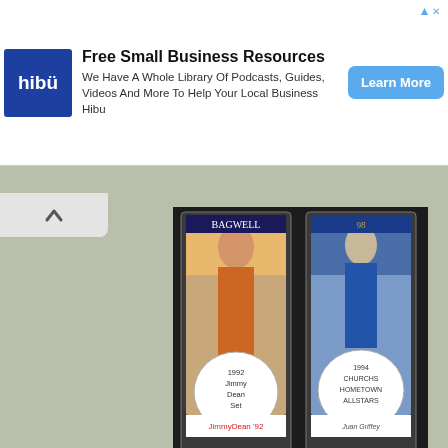[Figure (screenshot): Advertisement banner for Hibu featuring logo, 'Free Small Business Resources' heading, descriptive text about podcasts/guides/videos, and 'Learn More' button]
[Figure (photo): Two baseball cards in plastic cases with handwritten labels: '1992 Jimmy Dean Set' on the left card (Bagwell) and '1994 Churchs Hometown Allstars' on the right card]
So let's take a look at the 1994 Churchs Chicken Hometown Stars set. There are lots of stars in the 28 card set, but there are some notable names missing from the 1994 set. Most notably Ken Griffey Jr. and Frank Thomas. These were the two biggest names in baseball and the baseball card hobby back then, but Edgar Martinez and Robin Ventura represent the Mariners and White Sox instead of Griffey and Thomas.
[Figure (photo): Partial view of additional baseball cards at the bottom of the page]